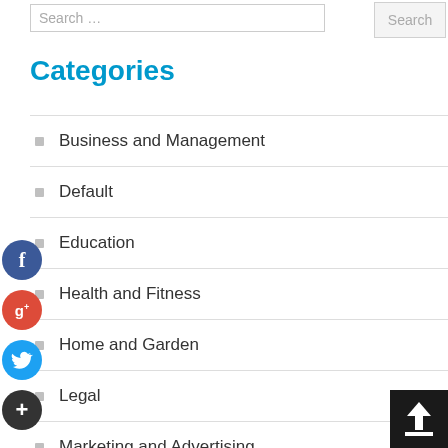[Figure (screenshot): Search bar with text 'Search ...' and a Search button on the right]
Categories
Business and Management
Default
Education
Health and Fitness
Home and Garden
Legal
Marketing and Advertising
Pets
Technology and Gadgets
[Figure (infographic): Social media share buttons: Facebook (blue), Google+ (red), Twitter (blue), and a dark plus button on the left side of the page]
[Figure (infographic): Upload/share button in bottom-right corner, dark background with upward arrow icon]